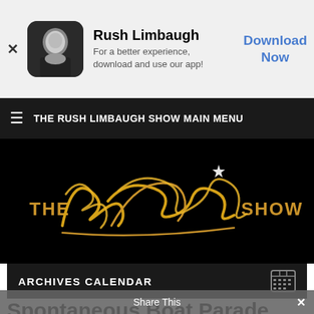[Figure (screenshot): App download banner with Rush Limbaugh photo icon, app name, tagline, and Download Now button]
THE RUSH LIMBAUGH SHOW MAIN MENU
[Figure (logo): The Rush Limbaugh Show logo with gold cursive script on black background]
ARCHIVES CALENDAR
Spontaneous Boat Parade Supports the President in
Share This